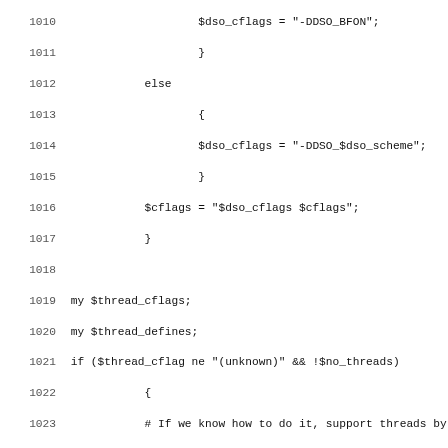Source code listing lines 1010-1042 (Perl/shell build script)